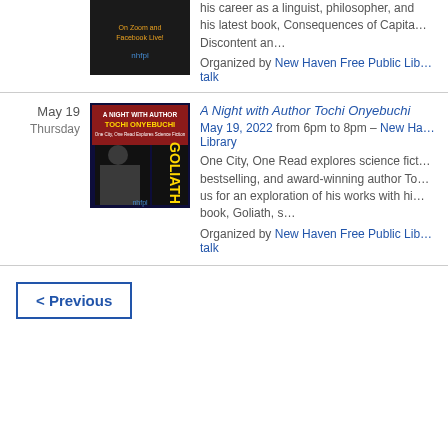his career as a linguist, philosopher, and his latest book, Consequences of Capitalism: Discontent an…
Organized by New Haven Free Public Library talk
May 19
Thursday
[Figure (photo): Book cover and author photo for A Night with Author Tochi Onyebuchi event, showing the book Goliath]
A Night with Author Tochi Onyebuchi
May 19, 2022 from 6pm to 8pm – New Haven Free Public Library
One City, One Read explores science fiction bestselling, and award-winning author Tochi us for an exploration of his works with his book, Goliath, s…
Organized by New Haven Free Public Library talk
< Previous